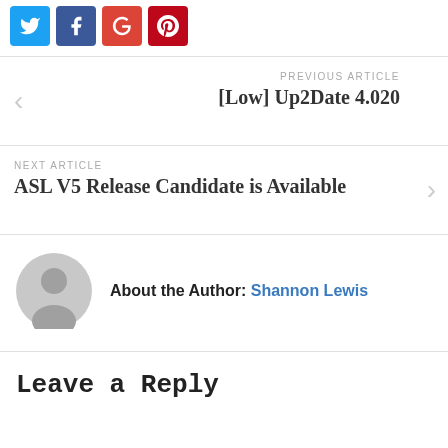[Figure (infographic): Social sharing buttons: Twitter (blue), Facebook (dark blue), Google+ (red), Pinterest (red)]
PREVIOUS ARTICLE
[Low] Up2Date 4.020
NEXT ARTICLE
ASL V5 Release Candidate is Available
About the Author: Shannon Lewis
Leave a Reply